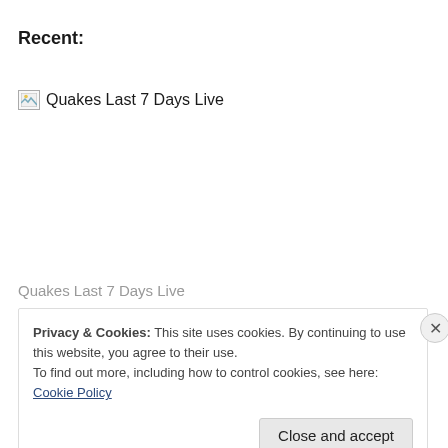Recent:
[Figure (photo): Broken image placeholder with alt text 'Quakes Last 7 Days Live']
Quakes Last 7 Days Live
Privacy & Cookies: This site uses cookies. By continuing to use this website, you agree to their use.
To find out more, including how to control cookies, see here: Cookie Policy
Close and accept